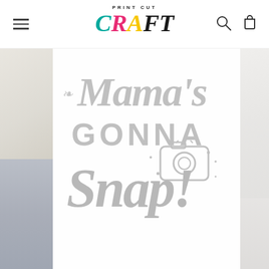[Figure (logo): Print Cut Craft logo with colorful stylized letters C-R-A-F-T and menu/search/cart icons in the header bar]
[Figure (illustration): Mama's Gonna Snap! SVG cut file design in light gray script and block lettering with a camera illustration, shown over a blurred photo background]